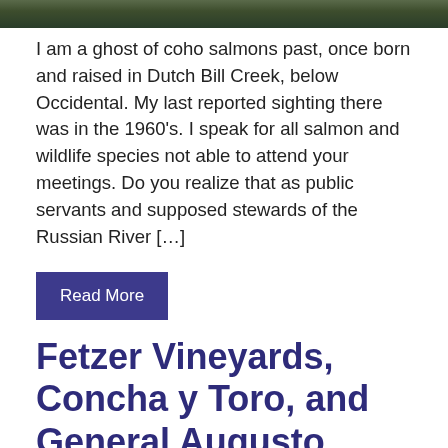[Figure (photo): Cropped top of a photograph, showing an outdoor scene with green/dark tones]
I am a ghost of coho salmons past, once born and raised in Dutch Bill Creek, below Occidental. My last reported sighting there was in the 1960's. I speak for all salmon and wildlife species not able to attend your meetings. Do you realize that as public servants and supposed stewards of the Russian River […]
Read More
Fetzer Vineyards, Concha y Toro, and General Augusto Pinochet
Posted on July 14, 2020 by admin
Main Article Archive, Viticulture not food agriculture